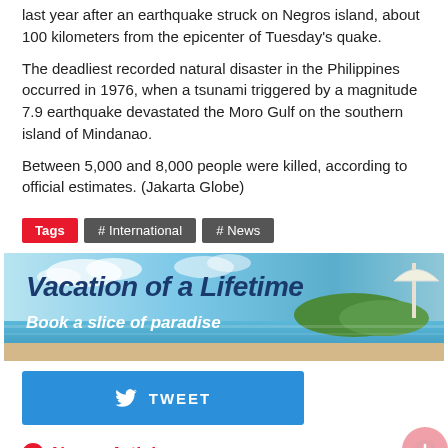last year after an earthquake struck on Negros island, about 100 kilometers from the epicenter of Tuesday's quake.
The deadliest recorded natural disaster in the Philippines occurred in 1976, when a tsunami triggered by a magnitude 7.9 earthquake devastated the Moro Gulf on the southern island of Mindanao.
Between 5,000 and 8,000 people were killed, according to official estimates. (Jakarta Globe)
Tags  # International  # News
[Figure (photo): Advertisement banner: 'Vacation of a Lifetime — Book a slice of paradise' over a tropical beach background]
TWEET
Newer Article